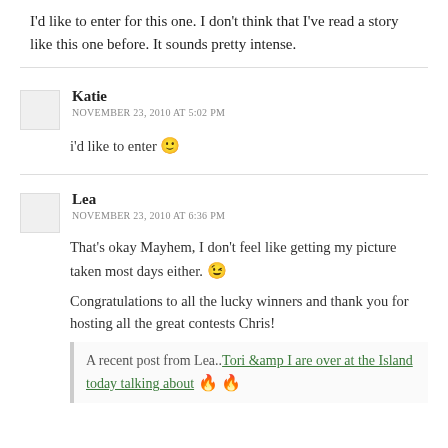I'd like to enter for this one. I don't think that I've read a story like this one before. It sounds pretty intense.
Katie
NOVEMBER 23, 2010 AT 5:02 PM
i'd like to enter 🙂
Lea
NOVEMBER 23, 2010 AT 6:36 PM
That's okay Mayhem, I don't feel like getting my picture taken most days either. 😉

Congratulations to all the lucky winners and thank you for hosting all the great contests Chris!

A recent post from Lea..Tori &amp I are over at the Island today talking about 🔥 🔥